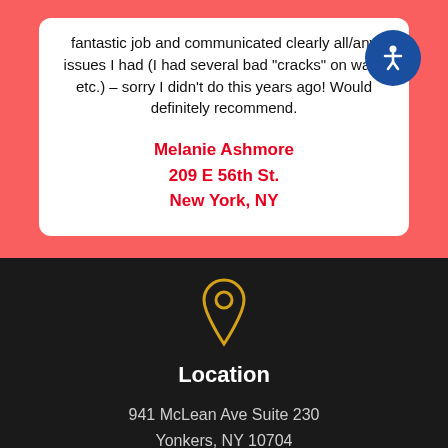fantastic job and communicated clearly all/any issues I had (I had several bad "cracks" on walls etc.) – sorry I didn't do this years ago! Would definitely recommend.
Melanie Ashmore
209 E 56th St.
New York, NY
[Figure (illustration): Accessibility icon button — blue circle with white wheelchair/person accessibility symbol]
[Figure (illustration): Gold/yellow map pin location icon on dark background]
Location
941 McLean Ave Suite 230
Yonkers, NY 10704